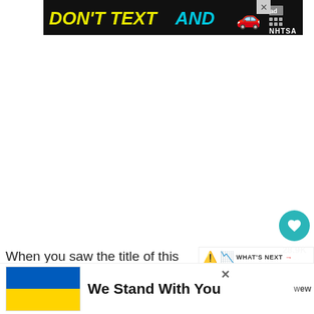[Figure (other): Advertisement banner: DON'T TEXT AND [car emoji] ad NHTSA logo, with close X button]
[Figure (other): Heart/like button showing 28.9K and share button sidebar]
[Figure (other): WHAT'S NEXT arrow panel with Valentine's Day Subway... text and warning/chart icons]
When you saw the title of this post, didn't think it was the same old love subway art printable from a few years ago, {grab that d... a new
[Figure (other): Ukraine flag with 'We Stand With You' solidarity banner and close X button]